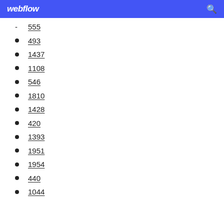webflow
555
493
1437
1108
546
1810
1428
420
1393
1951
1954
440
1044